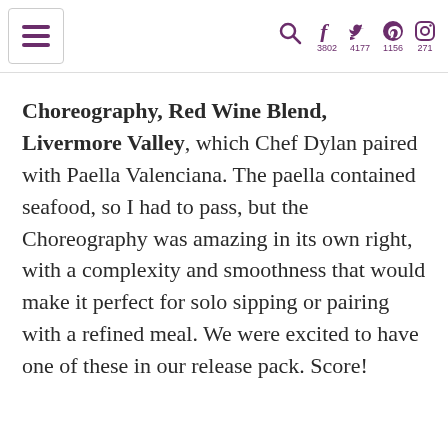Menu | Search | Facebook 3802 | Twitter 4177 | Pinterest 1156 | Instagram 271
Choreography, Red Wine Blend, Livermore Valley, which Chef Dylan paired with Paella Valenciana. The paella contained seafood, so I had to pass, but the Choreography was amazing in its own right, with a complexity and smoothness that would make it perfect for solo sipping or pairing with a refined meal. We were excited to have one of these in our release pack. Score!